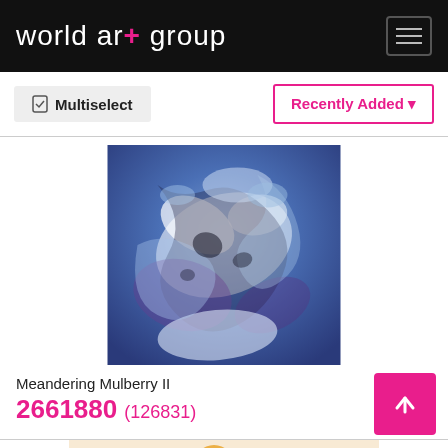world art group
Multiselect
Recently Added
[Figure (photo): Abstract fluid art painting with blue, purple, white and black swirling patterns, titled Meandering Mulberry II]
Meandering Mulberry II
2661880 (126831)
[Figure (photo): Partial view of a second artwork at the bottom of the page, showing colorful floral or abstract patterns in orange, red, yellow and green]